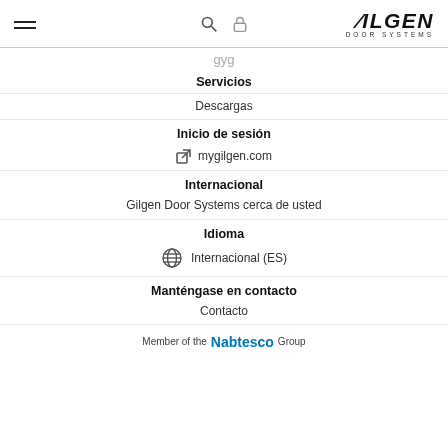GILGEN DOOR SYSTEMS
gyg
Servicios
Descargas
Inicio de sesión
mygilgen.com
Internacional
Gilgen Door Systems cerca de usted
Idioma
Internacional (ES)
Manténgase en contacto
Contacto
Member of the Nabtesco Group